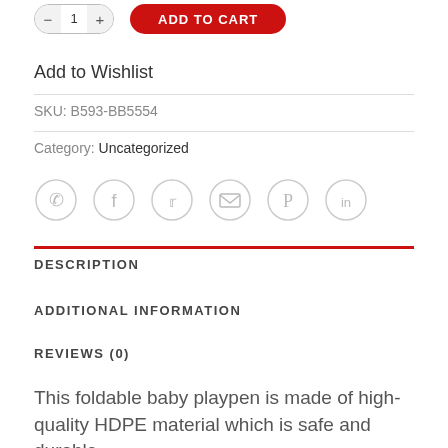[Figure (other): Add to cart UI: quantity selector with minus/number/plus and red ADD TO CART button]
Add to Wishlist
SKU: B593-BB5554
Category: Uncategorized
[Figure (other): Social share icons: WhatsApp, Facebook, Twitter, Email, Pinterest, LinkedIn]
DESCRIPTION
ADDITIONAL INFORMATION
REVIEWS (0)
This foldable baby playpen is made of high-quality HDPE material which is safe and durable